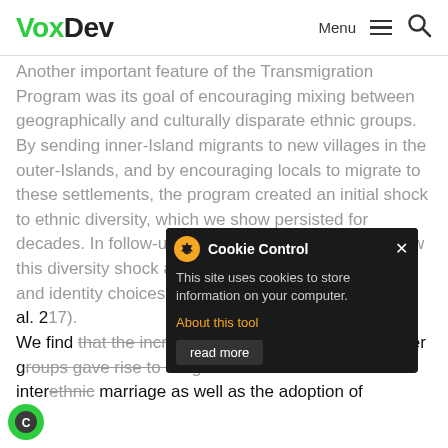VoxDev | Menu
Another important feature of the Transmigration Program was its goal of encouraging mixing between geographically and culturally disparate ethnic groups. By sending inner-Island migrants to new villages in the outer-Islands, and by encouraging locals to migrate to these settlements, the program created an initial shock to ethnic diversity, which we show persisted for decades. In follow-up work, we further investigate how this diversity shock affected interethnic cooperation and identity choices in the new settlements (Bazzi et al. 2017).
We find that the increased scope for contact with other groups gave rise to a significant increase in both interethnic marriage as well as the adoption of